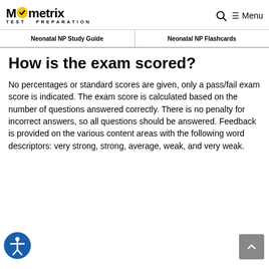Mometrix TEST PREPARATION
Neonatal NP Study Guide | Neonatal NP Flashcards
How is the exam scored?
No percentages or standard scores are given, only a pass/fail exam score is indicated. The exam score is calculated based on the number of questions answered correctly. There is no penalty for incorrect answers, so all questions should be answered. Feedback is provided on the various content areas with the following word descriptors: very strong, strong, average, weak, and very weak.